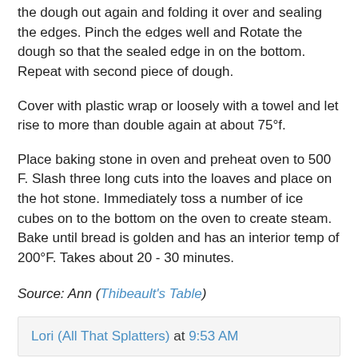the dough out again and folding it over and sealing the edges. Pinch the edges well and Rotate the dough so that the sealed edge in on the bottom. Repeat with second piece of dough.
Cover with plastic wrap or loosely with a towel and let rise to more than double again at about 75°f.
Place baking stone in oven and preheat oven to 500 F. Slash three long cuts into the loaves and place on the hot stone. Immediately toss a number of ice cubes on to the bottom on the oven to create steam. Bake until bread is golden and has an interior temp of 200°F. Takes about 20 - 30 minutes.
Source: Ann (Thibeault's Table)
Lori (All That Splatters) at 9:53 AM
7 comments: